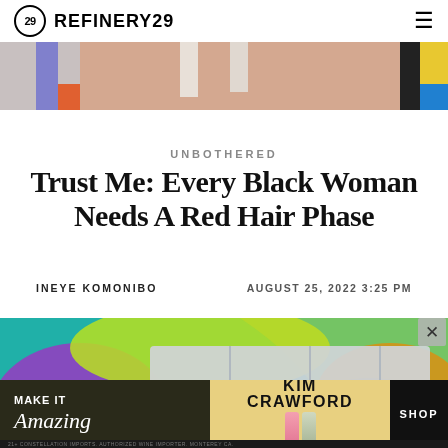REFINERY29
[Figure (photo): Partial top photo showing colorful background with person, cropped at top of page]
UNBOTHERED
Trust Me: Every Black Woman Needs A Red Hair Phase
INEYE KOMONIBO
AUGUST 25, 2022 3:25 PM
[Figure (photo): Article illustration with colorful abstract background (teal, purple, lime green, orange) with a shelf or organizer in the center]
[Figure (advertisement): Kim Crawford wine advertisement with Make It Amazing text, wine bottles, and SHOP button]